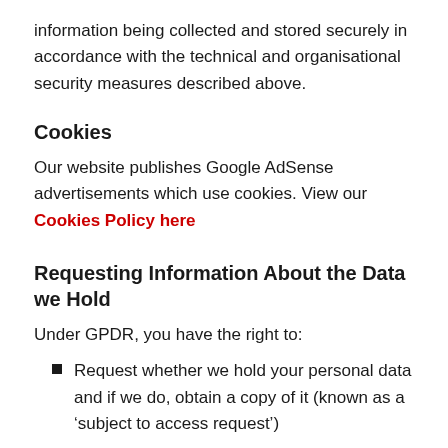information being collected and stored securely in accordance with the technical and organisational security measures described above.
Cookies
Our website publishes Google AdSense advertisements which use cookies. View our Cookies Policy here
Requesting Information About the Data we Hold
Under GPDR, you have the right to:
Request whether we hold your personal data and if we do, obtain a copy of it (known as a ‘subject to access request’)
Have inaccurate data rectified